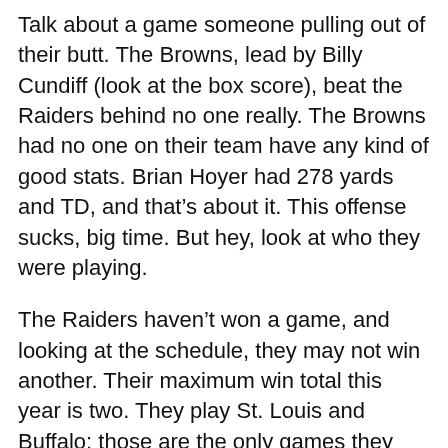Talk about a game someone pulling out of their butt.  The Browns, lead by Billy Cundiff (look at the box score), beat the Raiders behind no one really.  The Browns had no one on their team have any kind of good stats.  Brian Hoyer had 278 yards and TD, and that's about it.  This offense sucks, big time.  But hey, look at who they were playing.
The Raiders haven't won a game, and looking at the schedule, they may not win another.  Their maximum win total this year is two.  They play St. Louis and Buffalo; those are the only games they even have chance in.